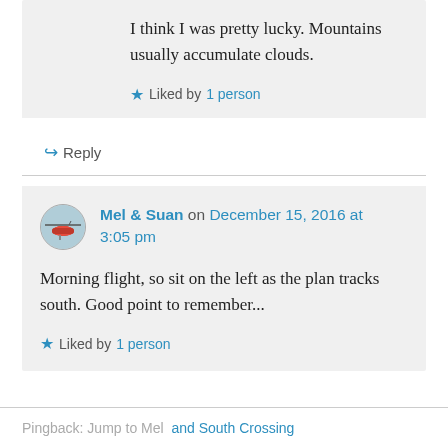I think I was pretty lucky. Mountains usually accumulate clouds.
Liked by 1 person
Reply
Mel & Suan on December 15, 2016 at 3:05 pm
Morning flight, so sit on the left as the plan tracks south. Good point to remember...
Liked by 1 person
Pingback: Jump to Mel and South Crossing